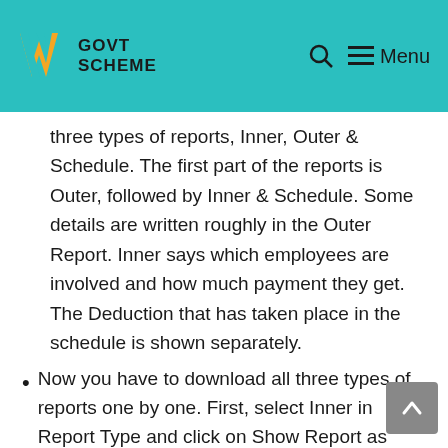GOVT SCHEME
three types of reports, Inner, Outer & Schedule. The first part of the reports is Outer, followed by Inner & Schedule. Some details are written roughly in the Outer Report. Inner says which employees are involved and how much payment they get. The Deduction that has taken place in the schedule is shown separately.
Now you have to download all three types of reports one by one. First, select Inner in Report Type and click on Show Report as soon as you click on Show Report. A